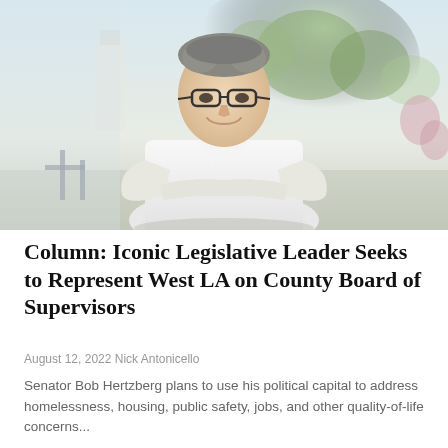[Figure (photo): A smiling older man with gray hair and glasses wearing a white long-sleeve shirt with arms crossed, standing outdoors with trees and an urban background visible.]
Column: Iconic Legislative Leader Seeks to Represent West LA on County Board of Supervisors
August 12, 2022 Nick Antonicello
Senator Bob Hertzberg plans to use his political capital to address homelessness, housing, public safety, jobs, and other quality-of-life concerns...